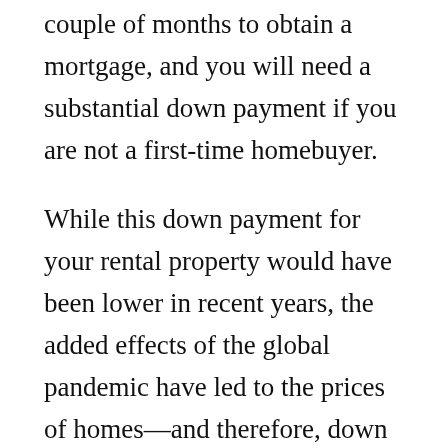couple of months to obtain a mortgage, and you will need a substantial down payment if you are not a first-time homebuyer.
While this down payment for your rental property would have been lower in recent years, the added effects of the global pandemic have led to the prices of homes—and therefore, down payments—to increase.
Another drawback to a traditional route towards financing your endeavor is the added stipulation of good credit history.